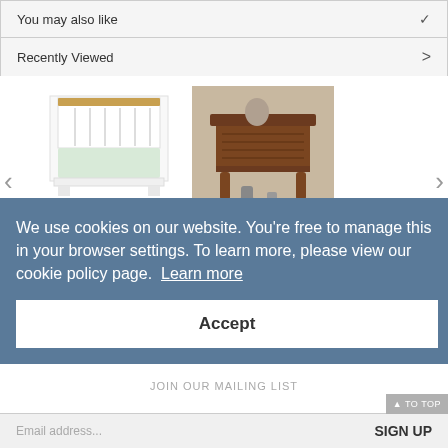You may also like
Recently Viewed
[Figure (photo): White Casa Bampton bed frame double with slatted headboard and light wood top rail]
Casa Bampton Bed Frame, Double
[Figure (photo): Old Charm dark wood lamp table with carved detail and turned legs, with decorative items on top]
Old Charm Lamp Table
We use cookies on our website. You're free to manage this in your browser settings. To learn more, please view our cookie policy page. Learn more
Accept
JOIN OUR MAILING LIST
Email address...
SIGN UP